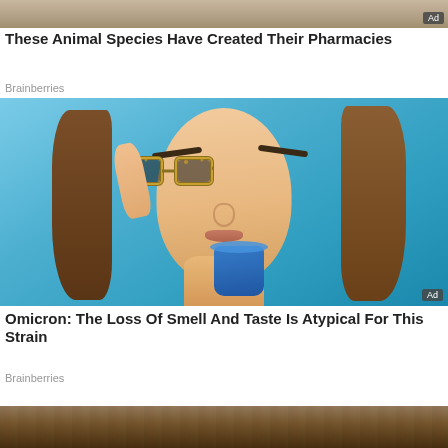[Figure (photo): Top partial ad image — cropped animal/nature photo at top of page]
These Animal Species Have Created Their Pharmacies
Brainberries
[Figure (photo): Woman wearing decorative cat-eye glasses touching her temple with one hand and drinking from a blue glass, against a teal/blue background. Ad badge in bottom-right corner.]
Omicron: The Loss Of Smell And Taste Is Atypical For This Strain
Brainberries
[Figure (photo): Bottom partial ad image — cropped dark textured architectural/stone photo at bottom of page]